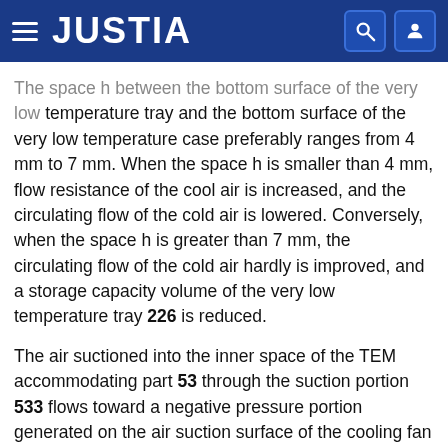JUSTIA
The space h between the bottom surface of the very low temperature tray and the bottom surface of the very low temperature case preferably ranges from 4 mm to 7 mm. When the space h is smaller than 4 mm, flow resistance of the cool air is increased, and the circulating flow of the cold air is lowered. Conversely, when the space h is greater than 7 mm, the circulating flow of the cold air hardly is improved, and a storage capacity volume of the very low temperature tray 226 is reduced.
The air suctioned into the inner space of the TEM accommodating part 53 through the suction portion 533 flows toward a negative pressure portion generated on the air suction surface of the cooling fan 190 in the middle and comes into contact with the heat exchange pin 122 of the cold sink 120 to exchange heat therewith. Since the suction portions are provided at the upper